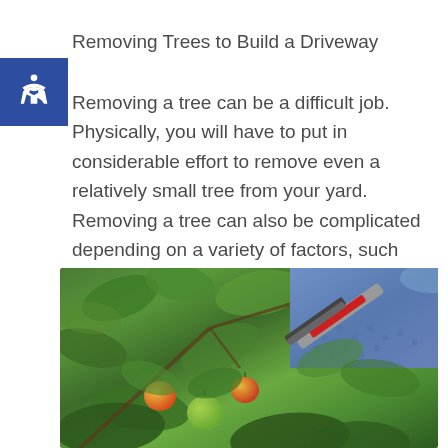Removing Trees to Build a Driveway
Removing a tree can be a difficult job. Physically, you will have to put in considerable effort to remove even a relatively small tree from your yard. Removing a tree can also be complicated depending on a variety of factors, such as...
[Figure (photo): Close-up photo of a person wearing blue work gloves using pruning shears to cut a branch on an apple tree with green leaves and red/green apples visible]